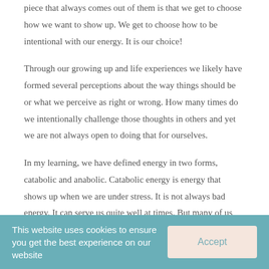piece that always comes out of them is that we get to choose how we want to show up. We get to choose how to be intentional with our energy. It is our choice!
Through our growing up and life experiences we likely have formed several perceptions about the way things should be or what we perceive as right or wrong. How many times do we intentionally challenge those thoughts in others and yet we are not always open to doing that for ourselves.
In my learning, we have defined energy in two forms, catabolic and anabolic. Catabolic energy is energy that shows up when we are under stress. It is not always bad energy. It can serve us quite well at times. But many of us
This website uses cookies to ensure you get the best experience on our website